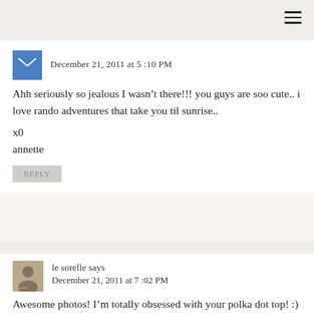December 21, 2011 at 5:10 PM
Ahh seriously so jealous I wasn’t there!!! you guys are soo cute.. i love rando adventures that take you til sunrise..

x0

annette
REPLY
le sorelle says
December 21, 2011 at 7:02 PM
Awesome photos! I’m totally obsessed with your polka dot top! :)

–j
TORY BURCH GIVEAWAY